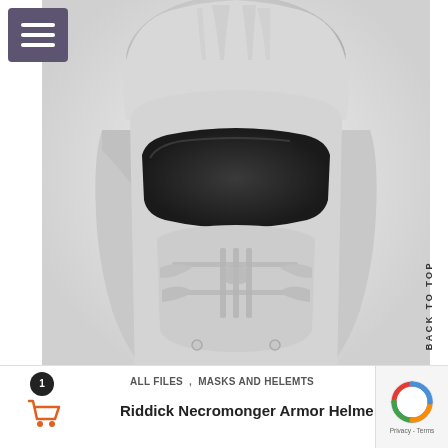[Figure (photo): Riddick Necromonger Armor Helmet 3D model — a grey sculpted helmet with angular face plate, visor, cheek guards, and decorative lower face mask, shown on white background]
BACK TO TOP
1
ALL FILES , MASKS AND HELEMTS
Riddick Necromonger Armor Helmet